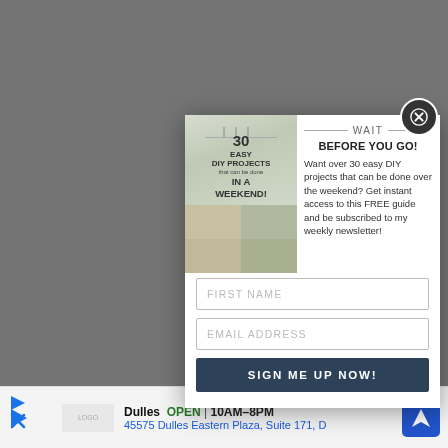Then or... rap, what di... d to do? Ug... ed, ugh, I w... ould paint... s
[Figure (screenshot): Popup modal overlay for a DIY newsletter signup. Contains a collage image of '30 Easy DIY Projects that can be done IN A WEEKEND!', a WAIT / BEFORE YOU GO headline, body text about free guide and newsletter, FIRST NAME and EMAIL ADDRESS input fields, and a SIGN ME UP NOW! button. A close (X) button appears in the top-right corner of the popup.]
WAIT
BEFORE YOU GO!
Want over 30 easy DIY projects that can be done over the weekend? Get instant access to this FREE guide and be subscribed to my weekly newsletter!
FIRST NAME
EMAIL ADDRESS
SIGN ME UP NOW!
Dulles  OPEN | 10AM–8PM
45575 Dulles Eastern Plaza, Suite 171, D